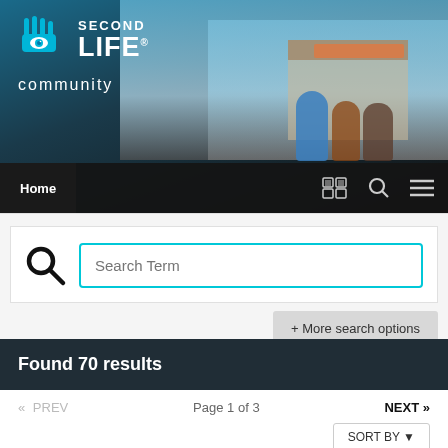[Figure (screenshot): Second Life Community website header banner with logo and background scene of avatars in front of a storefront]
Home
Search Term
+ More search options
Found 70 results
« PREV   Page 1 of 3   NEXT »
SORT BY ▾